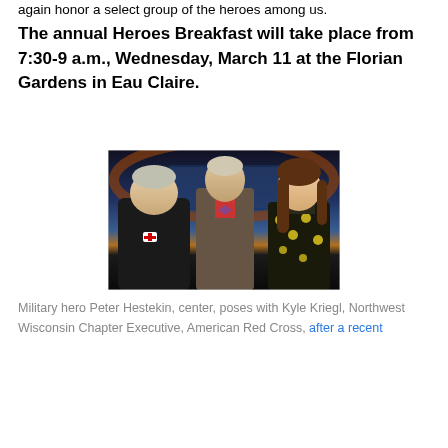again honor a select group of the heroes among us.
The annual Heroes Breakfast will take place from 7:30-9 a.m., Wednesday, March 11 at the Florian Gardens in Eau Claire.
[Figure (photo): Three people posing in a TV studio setting. On the left, a heavyset man in a dark shirt with a Red Cross badge. In the center, a tall man in a grey suit with a bow tie. On the right, a young woman in a floral dress with long brown hair.]
Military hero Peter Hestekin, center, poses with Kyle Kriegl, Northwest Wisconsin Chapter Executive, American Red Cross, after a recent